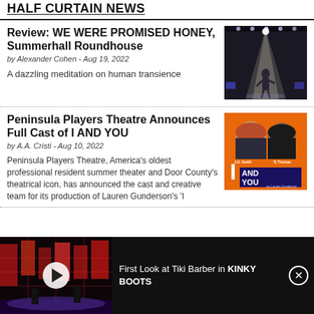HALF CURTAIN NEWS
Review: WE WERE PROMISED HONEY, Summerhall Roundhouse
by Alexander Cohen - Aug 19, 2022
A dazzling meditation on human transience
[Figure (photo): Dark stage with a performer under a bright spotlight, dramatic lighting]
Peninsula Players Theatre Announces Full Cast of I AND YOU
by A.A. Cristi - Aug 10, 2022
Peninsula Players Theatre, America's oldest professional resident summer theater and Door County's theatrical icon, has announced the cast and creative team for its production of Lauren Gunderson's 'I
[Figure (photo): Orange promotional poster for I AND YOU featuring J.G. Smith and Tj Thomas, by Lauren Gunderson]
[Figure (photo): Video thumbnail showing a dark stage set with red lighting for Kinky Boots]
First Look at Tiki Barber in KINKY BOOTS